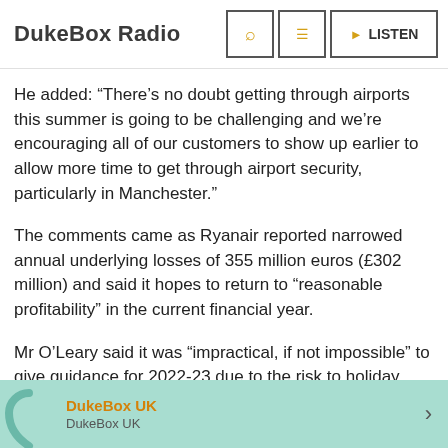DukeBox Radio
He added: “There’s no doubt getting through airports this summer is going to be challenging and we’re encouraging all of our customers to show up earlier to allow more time to get through airport security, particularly in Manchester.”
The comments came as Ryanair reported narrowed annual underlying losses of 355 million euros (£302 million) and said it hopes to return to “reasonable profitability” in the current financial year.
Mr O’Leary said it was “impractical, if not impossible” to give guidance for 2022-23 due to the risk to holiday bookings from Covid and the Ukraine war.
The group’s loss for the year to March 31 was smaller than
DukeBox UK | DukeBox UK